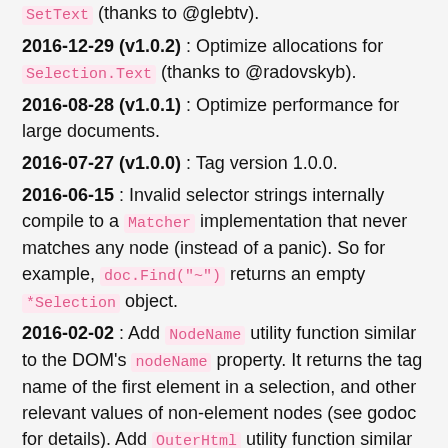SetText (thanks to @glebtv).
2016-12-29 (v1.0.2) : Optimize allocations for Selection.Text (thanks to @radovskyb).
2016-08-28 (v1.0.1) : Optimize performance for large documents.
2016-07-27 (v1.0.0) : Tag version 1.0.0.
2016-06-15 : Invalid selector strings internally compile to a Matcher implementation that never matches any node (instead of a panic). So for example, doc.Find("~") returns an empty *Selection object.
2016-02-02 : Add NodeName utility function similar to the DOM's nodeName property. It returns the tag name of the first element in a selection, and other relevant values of non-element nodes (see godoc for details). Add OuterHtml utility function similar to the DOM's outerHTML property (named OuterHtml in